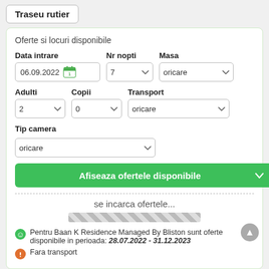Traseu rutier
Oferte si locuri disponibile
Data intrare: 06.09.2022 | Nr nopti: 7 | Masa: oricare
Adulti: 2 | Copii: 0 | Transport: oricare
Tip camera: oricare
Afiseaza ofertele disponibile
se incarca ofertele...
Pentru Baan K Residence Managed By Bliston sunt oferte disponibile in perioada: 28.07.2022 - 31.12.2023
Fara transport